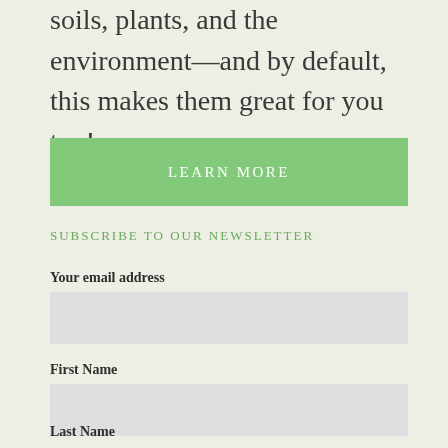soils, plants, and the environment—and by default, this makes them great for you too!
LEARN MORE
SUBSCRIBE TO OUR NEWSLETTER
Your email address
First Name
Last Name